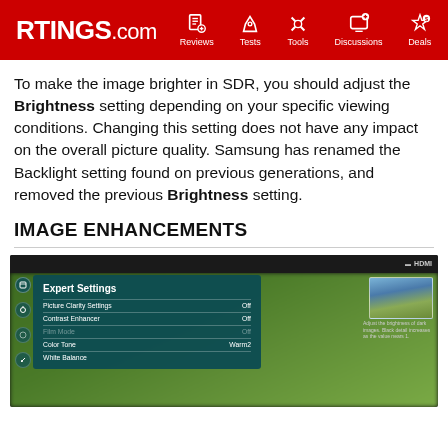RTINGS.com | Reviews | Tests | Tools | Discussions | Deals
To make the image brighter in SDR, you should adjust the Brightness setting depending on your specific viewing conditions. Changing this setting does not have any impact on the overall picture quality. Samsung has renamed the Backlight setting found on previous generations, and removed the previous Brightness setting.
IMAGE ENHANCEMENTS
[Figure (screenshot): Samsung TV Expert Settings menu showing Picture Clarity Settings: Off, Contrast Enhancer: Off, Film Mode: Off (dimmed), Color Tone: Warm2, White Balance. A thumbnail preview and description about adjusting brightness of dark images is shown on the right side.]